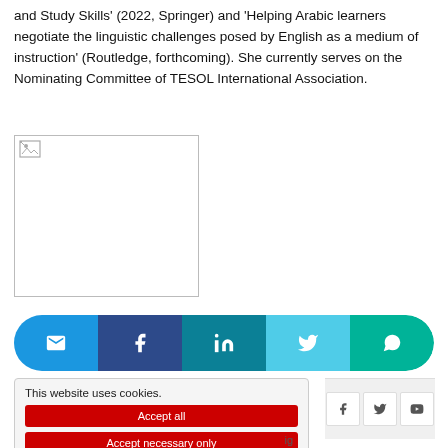and Study Skills' (2022, Springer) and 'Helping Arabic learners negotiate the linguistic challenges posed by English as a medium of instruction' (Routledge, forthcoming). She currently serves on the Nominating Committee of TESOL International Association.
[Figure (photo): A placeholder image box with a broken image icon in the top-left corner]
[Figure (infographic): Social sharing bar with email, Facebook, LinkedIn, Twitter, and WhatsApp buttons in rounded pill shape]
[Figure (infographic): Cookie consent overlay with 'This website uses cookies.' text and two red buttons: 'Accept all' and 'Accept necessary only'. Social media icons (Facebook, Twitter, YouTube) visible to the right.]